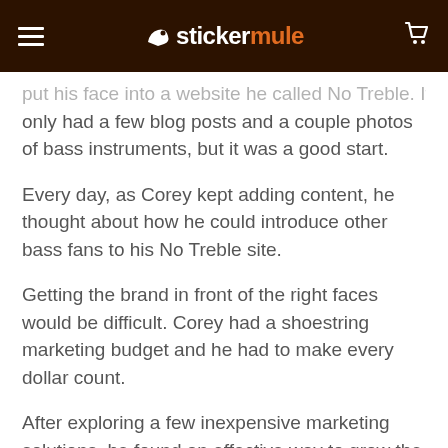stickermule
put his face into a website he called No Treble. It only had a few blog posts and a couple photos of bass instruments, but it was a good start.
Every day, as Corey kept adding content, he thought about how he could introduce other bass fans to his No Treble site.
Getting the brand in front of the right faces would be difficult. Corey had a shoestring marketing budget and he had to make every dollar count.
After exploring a few inexpensive marketing solutions, he found an effective way to grow the brand inexpensively. He found his magic bullet.